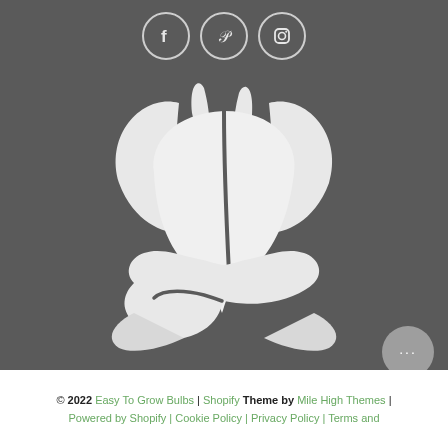[Figure (logo): Three social media icon circles (Facebook, Pinterest, Instagram) on dark gray background]
[Figure (logo): White tulip/flower logo with a hand cradling it, on dark gray background]
[Figure (other): Gray chat bubble icon with ellipsis (...)]
© 2022 Easy To Grow Bulbs | Shopify Theme by Mile High Themes | Powered by Shopify | Cookie Policy | Privacy Policy | Terms and